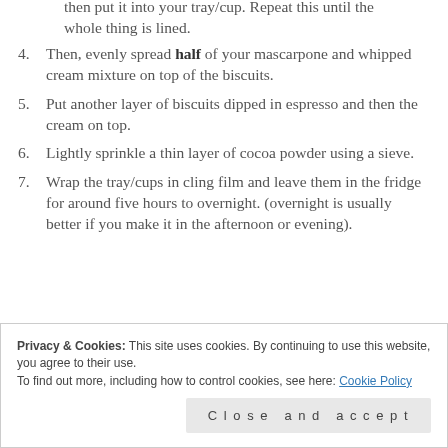then put it into your tray/cup. Repeat this until the whole thing is lined.
Then, evenly spread half of your mascarpone and whipped cream mixture on top of the biscuits.
Put another layer of biscuits dipped in espresso and then the cream on top.
Lightly sprinkle a thin layer of cocoa powder using a sieve.
Wrap the tray/cups in cling film and leave them in the fridge for around five hours to overnight. (overnight is usually better if you make it in the afternoon or evening).
Privacy & Cookies: This site uses cookies. By continuing to use this website, you agree to their use. To find out more, including how to control cookies, see here: Cookie Policy